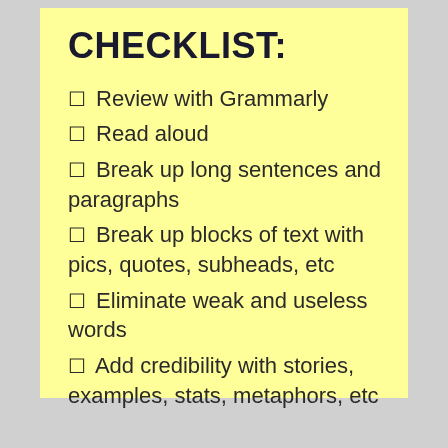CHECKLIST:
Review with Grammarly
Read aloud
Break up long sentences and paragraphs
Break up blocks of text with pics, quotes, subheads, etc
Eliminate weak and useless words
Add credibility with stories, examples, stats, metaphors, etc